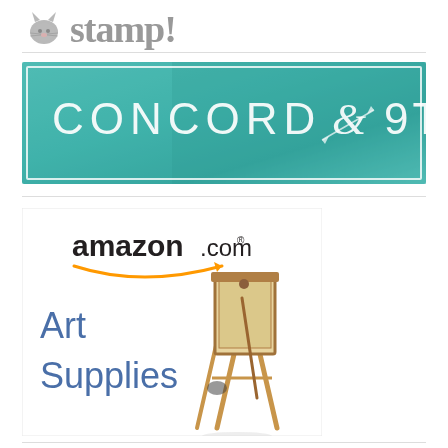[Figure (logo): Partial logo visible at top, appears to be a crafting/stamping brand logo with cat illustrations and stylized text]
[Figure (logo): Concord & 9th logo banner: teal/turquoise watercolor background with white text reading CONCORD & 9TH and decorative ampersand with arrows]
[Figure (logo): Amazon.com Art Supplies advertisement banner showing amazon.com logo with smile arrow, blue text Art Supplies, and an illustration of a wooden easel]